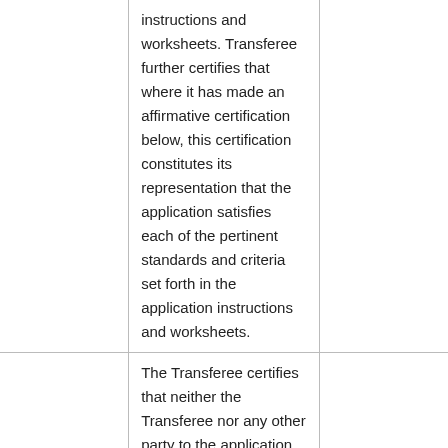|  | instructions and worksheets. Transferee further certifies that where it has made an affirmative certification below, this certification constitutes its representation that the application satisfies each of the pertinent standards and criteria set forth in the application instructions and worksheets. |  |
|  | The Transferee certifies that neither the Transferee nor any other party to the application is |  |